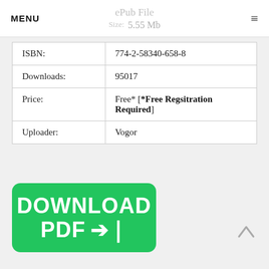MENU | ePub File Size: 5.55 Mb
| ISBN: | 774-2-58340-658-8 |
| Downloads: | 95017 |
| Price: | Free* [*Free Regsitration Required] |
| Uploader: | Vogor |
[Figure (other): Green download button with text DOWNLOAD PDF and arrow icon]